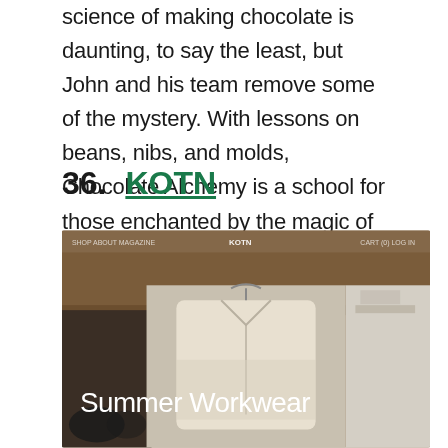science of making chocolate is daunting, to say the least, but John and his team remove some of the mystery. With lessons on beans, nibs, and molds, Chocolate Alchemy is a school for those enchanted by the magic of chocolate.
36. KOTN
[Figure (screenshot): Screenshot of KOTN website showing a 'Summer Workwear' campaign with an image of a cream/white zip-up jacket on a hanger, displayed against a warm wooden background with accessories visible]